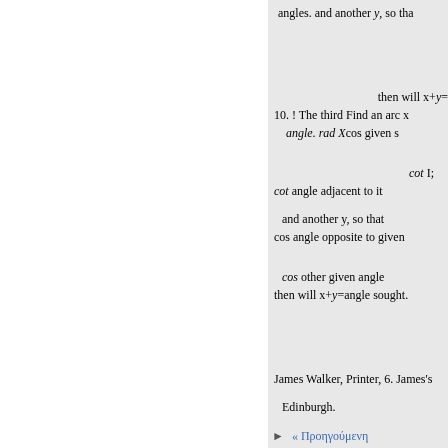angles. and another y, so tha
then will x+y=
10. ! The third Find an arc x
angle. rad Xcos given s
cot I;
cot angle adjacent to it
and another y, so that
cos angle opposite to given
cos other given angle
then will x+y=angle sought.
James Walker, Printer, 6. James's
Edinburgh.
« Προηγούμενη